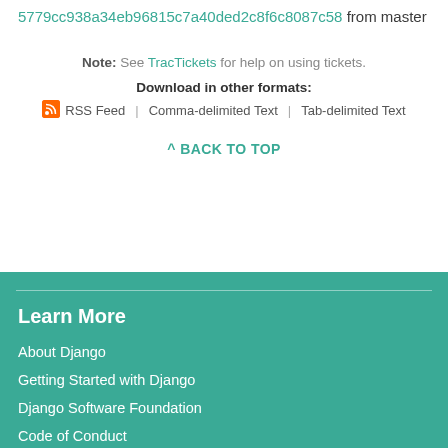5779cc938a34eb96815c7a40ded2c8f6c8087c58 from master
Note: See TracTickets for help on using tickets.
Download in other formats:
RSS Feed | Comma-delimited Text | Tab-delimited Text
^ BACK TO TOP
Learn More
About Django
Getting Started with Django
Django Software Foundation
Code of Conduct